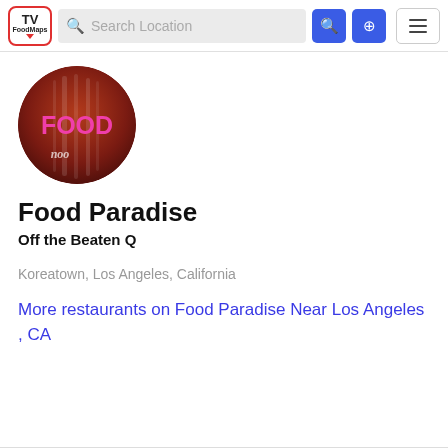TV FoodMaps | Search Location
[Figure (photo): Circular profile photo showing a neon FOOD sign in red-lit restaurant interior]
Food Paradise
Off the Beaten Q
Koreatown, Los Angeles, California
More restaurants on Food Paradise Near Los Angeles , CA